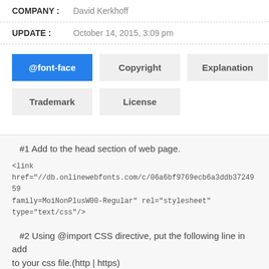COMPANY : David Kerkhoff
UPDATE : October 14, 2015, 3:09 pm
@font-face  Copyright  Explanation  Trademark  License
#1 Add to the head section of web page.
<link href="//db.onlinewebfonts.com/c/06a6bf9769ecb6a3ddb3724959... family=MoiNonPlusW00-Regular" rel="stylesheet" type="text/css"/>
#2 Using @import CSS directive, put the following line in add to your css file.(http | https)
@import